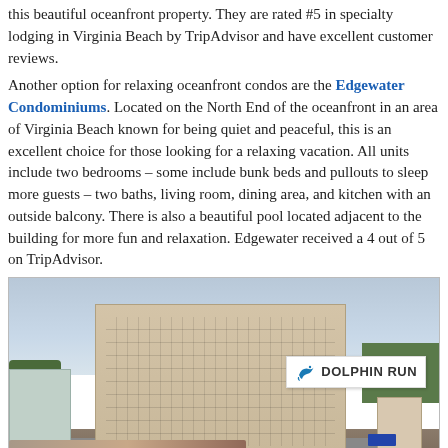this beautiful oceanfront property. They are rated #5 in specialty lodging in Virginia Beach by TripAdvisor and have excellent customer reviews.
Another option for relaxing oceanfront condos are the Edgewater Condominiums. Located on the North End of the oceanfront in an area of Virginia Beach known for being quiet and peaceful, this is an excellent choice for those looking for a relaxing vacation. All units include two bedrooms – some include bunk beds and pullouts to sleep more guests – two baths, living room, dining area, and kitchen with an outside balcony. There is also a beautiful pool located adjacent to the building for more fun and relaxation. Edgewater received a 4 out of 5 on TripAdvisor.
[Figure (photo): Aerial/elevated view of a large multi-story condominium building (Dolphin Run) near the Virginia Beach oceanfront, with crowds and tents visible at the bottom, trees on the sides, and a Dolphin Run logo overlay in the upper right.]